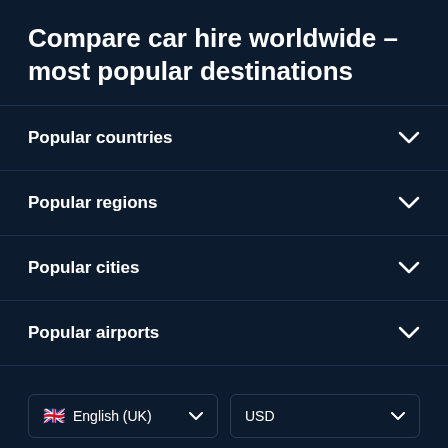Compare car hire worldwide – most popular destinations
Popular countries
Popular regions
Popular cities
Popular airports
English (UK)
USD